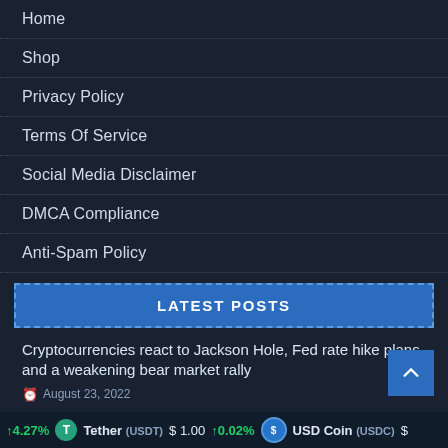Home
Shop
Privacy Policy
Terms Of Service
Social Media Disclaimer
DMCA Compliance
Anti-Spam Policy
LATEST POSTS
Cryptocurrencies react to Jackson Hole, Fed rate hike plans and a weakening bear market rally
August 23, 2022
HNT Holders Loses May Low Support; What Next?
August 23, 2022
↑4.27%  Tether (USDT) $1.00  ↑0.02%  USD Coin (USDC) $